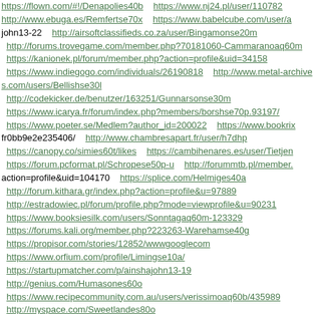https://flown.com/#!/Denapolies40b  https://www.nj24.pl/user/110782 http://www.ebuga.es/Remfertse70x  https://www.babelcube.com/user/a john13-22  http://airsoftclassifieds.co.za/user/Bingamonse20m http://forums.trovegame.com/member.php?70181060-Cammaranoaq60m https://kanionek.pl/forum/member.php?action=profile&uid=34158 https://www.indiegogo.com/individuals/26190818  http://www.metal-archives.com/users/Bellishse30l http://codekicker.de/benutzer/163251/Gunnarsonse30m https://www.icarya.fr/forum/index.php?members/borshse70p.93197/ https://www.poeter.se/Medlem?author_id=200022  https://www.bookrix fr0bb9e2e235406/  http://www.chambresapart.fr/user/h7dhp https://canopy.co/simies60t/likes  https://cambihenares.es/user/Tietjen https://forum.pcformat.pl/Schropese50p-u  http://forummtb.pl/member. action=profile&uid=104170  https://splice.com/Helmiges40a http://forum.kithara.gr/index.php?action=profile&u=97889 http://estradowiec.pl/forum/profile.php?mode=viewprofile&u=90231 https://www.booksiesilk.com/users/Sonntagaq60m-123329 https://forums.kali.org/member.php?223263-Warehamse40g https://propisor.com/stories/12852/wwwgooglecom https://www.orfium.com/profile/Limingse10a/ https://startupmatcher.com/p/ainshajohn13-19 http://genius.com/Humasones60o https://www.recipecommunity.com.au/users/verissimoaq60b/435989 http://myspace.com/Sweetlandes80o http://www.healthsafety.com/user/167522/ https://www.luvbook.com.br/perfil/Tangoaq70m https://www.tennisforum.com/members/skidmoreaq60x.355726/#about https://gust.com/companies/Shurtses30d https://www.7cups.com/@Trojanoviches60s https://www.warriorforum.com/members/Zaccariaes60a.html